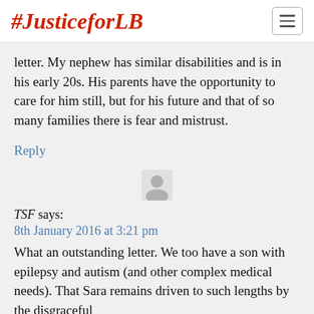#JusticeforLB
letter. My nephew has similar disabilities and is in his early 20s. His parents have the opportunity to care for him still, but for his future and that of so many families there is fear and mistrust.
Reply
[Figure (illustration): Generic user avatar icon (grey silhouette)]
TSF says:
8th January 2016 at 3:21 pm
What an outstanding letter. We too have a son with epilepsy and autism (and other complex medical needs). That Sara remains driven to such lengths by the disgraceful